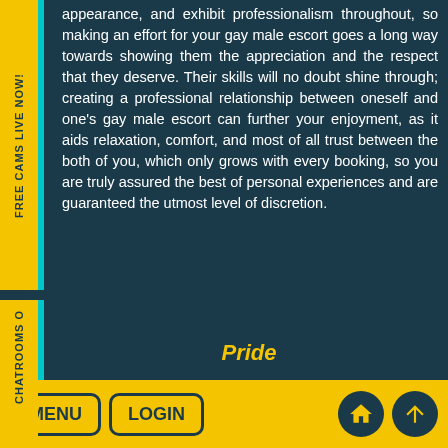appearance, and exhibit professionalism throughout, so making an effort for your gay male escort goes a long way towards showing them the appreciation and the respect that they deserve. Their skills will no doubt shine through; creating a professional relationship between oneself and one's gay male escort can further your enjoyment, as it aids relaxation, comfort, and most of all trust between the both of you, which only grows with every booking, so you are truly assured the best of personal experiences and are guaranteed the utmost level of discretion.
Pride
created: June 28th, 2022
Like This!   1 Liked This   Tweet This!
Email to a Friend